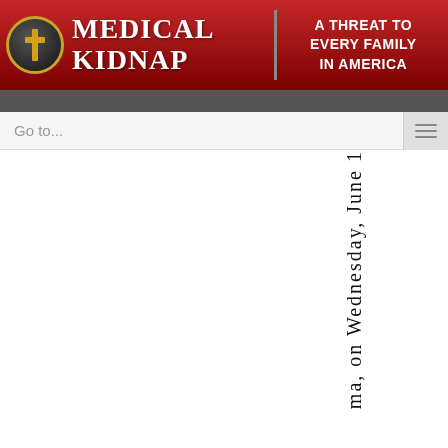Medical Kidnap | A Threat to Every Family in America
Go to...
ma, on Wednesday, June 1